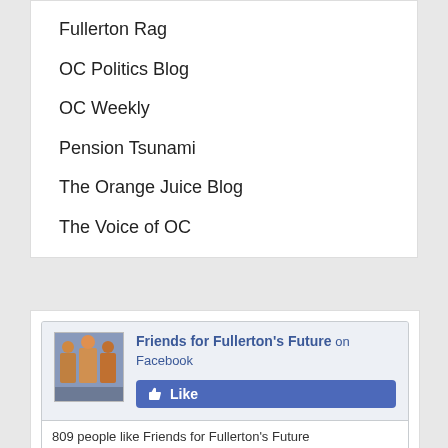Fullerton Rag
OC Politics Blog
OC Weekly
Pension Tsunami
The Orange Juice Blog
The Voice of OC
[Figure (screenshot): Facebook Like widget for Friends for Fullerton's Future showing 809 people like the page, with profile photos of Jack, Steven, Allan, and Shawn]